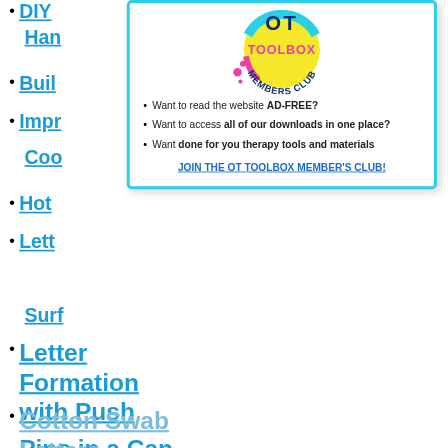DIY Han...
Buil...
Impr... Coo...
Hot...
Lett...
Surf...
[Figure (logo): OT Toolbox Members Club badge logo - yellow circle with cyan and pink accents, text 'TOOLBOX MEMBERS CLUB']
Want to read the website AD-FREE?
Want to access all of our downloads in one place?
Want done for you therapy tools and materials
JOIN THE OT TOOLBOX MEMBER'S CLUB!
Letter Formation with Push Pins in a Can
Cotton Swab Letters